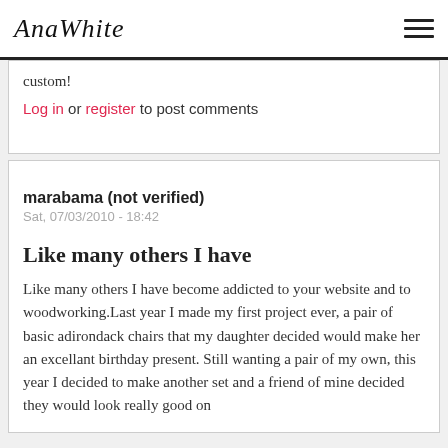Ana White
custom!
Log in or register to post comments
marabama (not verified)
Sat, 07/03/2010 - 18:42
Like many others I have
Like many others I have become addicted to your website and to woodworking.Last year I made my first project ever, a pair of basic adirondack chairs that my daughter decided would make her an excellant birthday present. Still wanting a pair of my own, this year I decided to make another set and a friend of mine decided they would look really good on